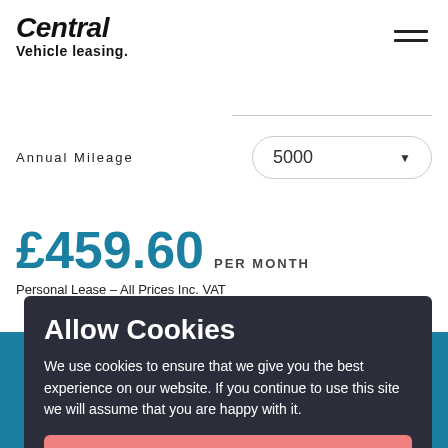Central Vehicle leasing.
Annual Mileage  5000
£459.60 PER MONTH
Personal Lease – All Prices Inc. VAT
Allow Cookies
We use cookies to ensure that we give you the best experience on our website. If you continue to use this site we will assume that you are happy with it.
OK